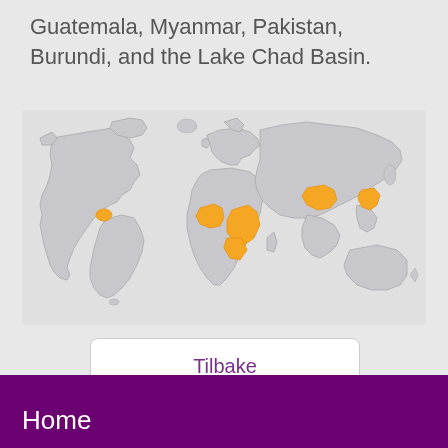Guatemala, Myanmar, Pakistan, Burundi, and the Lake Chad Basin.
[Figure (map): World map with highlighted regions in orange indicating: Guatemala (Central America), Lake Chad Basin (West Africa), Horn of Africa/Burundi region (East/Central Africa), Pakistan, and Myanmar. Remaining countries shown in light gray.]
Tilbake
Home